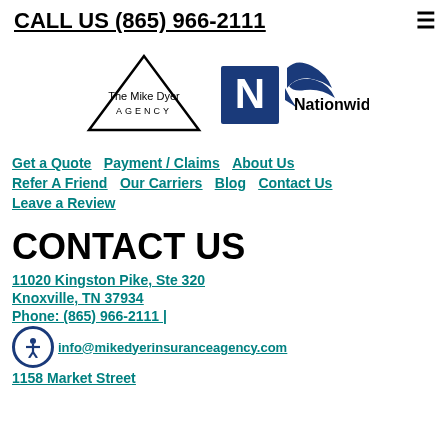CALL US (865) 966-2111
[Figure (logo): The Mike Dyer Agency logo with triangle and Nationwide eagle logo with text 'Nationwide']
Get a Quote
Payment / Claims
About Us
Refer A Friend
Our Carriers
Blog
Contact Us
Leave a Review
CONTACT US
11020 Kingston Pike, Ste 320
Knoxville, TN 37934
Phone: (865) 966-2111 |
info@mikedyerinsuranceagency.com
1158 Market Street